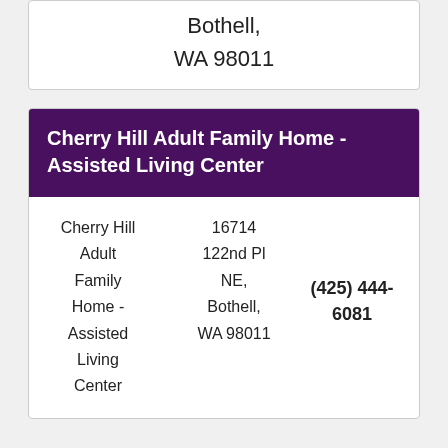Bothell, WA 98011
Cherry Hill Adult Family Home - Assisted Living Center
| Name | Address | Phone |
| --- | --- | --- |
| Cherry Hill Adult Family Home - Assisted Living Center | 16714 122nd Pl NE, Bothell, WA 98011 | (425) 444-6081 |